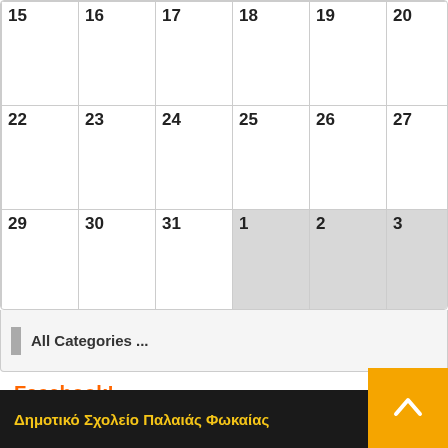| 15 | 16 | 17 | 18 | 19 | 20 | 21 |
| 22 | 23 | 24 | 25 | 26 | 27 | 28 |
| 29 | 30 | 31 | 1 | 2 | 3 | 4 |
All Categories ...
Facebook!
Η σελίδα μας
Δημοτικό Σχολείο Παλαιάς Φωκαίας